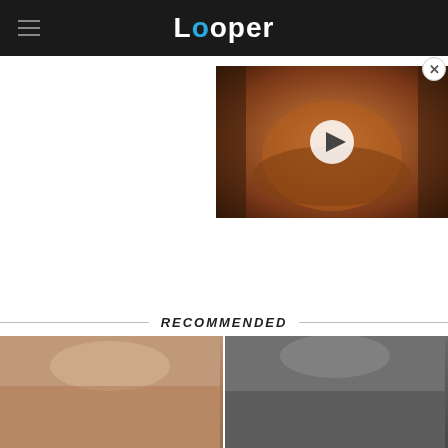Looper
[Figure (screenshot): Video thumbnail showing a dragon or creature from a film, with a play button overlay. Close button in top-right corner.]
RECOMMENDED
[Figure (photo): Cropped photo of a woman with blonde hair (left thumbnail)]
[Figure (photo): Cropped photo of a man with dark hair (right thumbnail)]